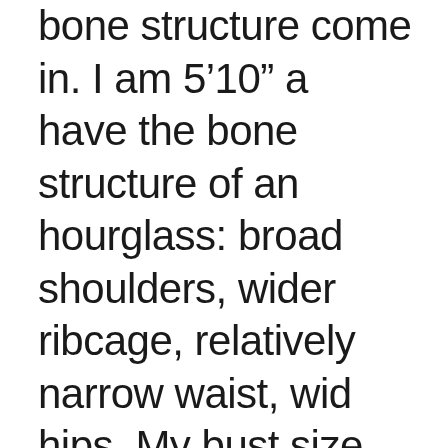bone structure come in. I am 5'10" a have the bone structure of an hourglass: broad shoulders, wider ribcage, relatively narrow waist, wide hips. My bust size appears visually balanced by my hips and shoulders and I appear to have a large-norma bust. A 5' tall friend with the same b size seems much, much fuller-bust in comparison because her bust tak